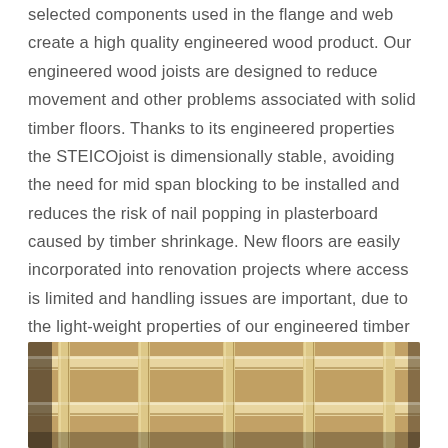selected components used in the flange and web create a high quality engineered wood product. Our engineered wood joists are designed to reduce movement and other problems associated with solid timber floors. Thanks to its engineered properties the STEICOjoist is dimensionally stable, avoiding the need for mid span blocking to be installed and reduces the risk of nail popping in plasterboard caused by timber shrinkage. New floors are easily incorporated into renovation projects where access is limited and handling issues are important, due to the light-weight properties of our engineered timber floor joists.
[Figure (photo): Photo of engineered timber floor joists installed in a structural frame, showing I-joists in a grid pattern with OSB web visible, light wood color.]